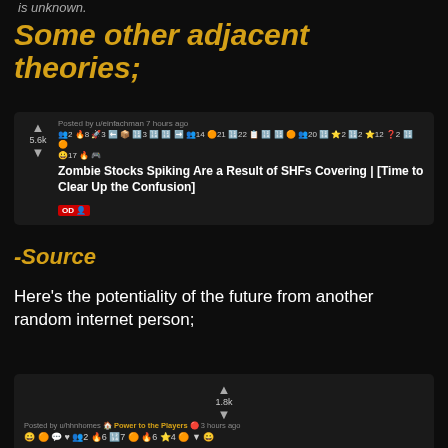is unknown.
Some other adjacent theories;
[Figure (screenshot): Reddit post screenshot: 'Zombie Stocks Spiking Are a Result of SHFs Covering | [Time to Clear Up the Confusion]' by u/einfachman, 5.6k upvotes, with OD flair]
-Source
Here's the potentiality of the future from another random internet person;
[Figure (screenshot): Reddit post screenshot: 'BIG CHANGES COMING THAT COULD AFFECT OTC ZOMBIE STOCKS: Effective Sept. 28th, many OTC stocks will be moved to a private broker-dealer network called the "Expert Market", and YOU the retail investor and general public, WILL NOT have access to prices, data, or trading within this' by u/hhnhomes, Power to the Players flair, 1.8k upvotes]